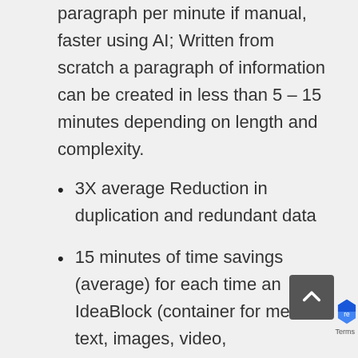paragraph per minute if manual, faster using AI; Written from scratch a paragraph of information can be created in less than 5 – 15 minutes depending on length and complexity.
3X average Reduction in duplication and redundant data
15 minutes of time savings (average) for each time an IdeaBlock (container for media – text, images, video,